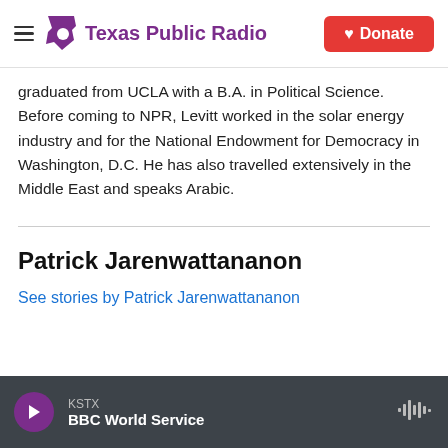Texas Public Radio | Donate
graduated from UCLA with a B.A. in Political Science. Before coming to NPR, Levitt worked in the solar energy industry and for the National Endowment for Democracy in Washington, D.C. He has also travelled extensively in the Middle East and speaks Arabic.
Patrick Jarenwattananon
See stories by Patrick Jarenwattananon
KSTX BBC World Service